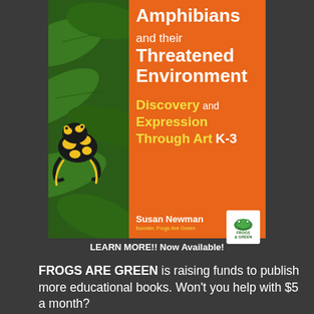[Figure (illustration): Book cover for 'Amphibians and their Threatened Environment: Discovery and Expression Through Art K-3' by Susan Newman, founder of Frogs Are Green. Orange cover with photo of poison dart frog on green leaves on the left side, and text on orange background on the right side. Includes Frogs Are Green logo.]
LEARN MORE!! Now Available!
FROGS ARE GREEN is raising funds to publish more educational books. Won't you help with $5 a month?